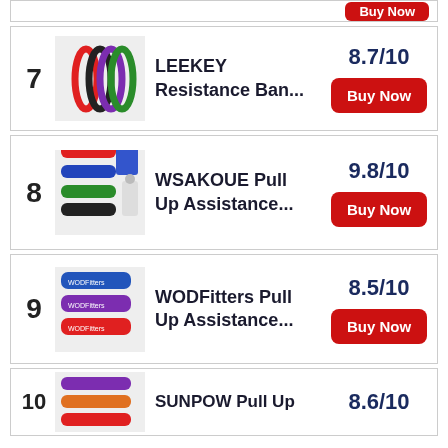7 LEEKEY Resistance Ban... 8.7/10 Buy Now
8 WSAKOUE Pull Up Assistance... 9.8/10 Buy Now
9 WODFitters Pull Up Assistance... 8.5/10 Buy Now
10 SUNPOW Pull Up 8.6/10